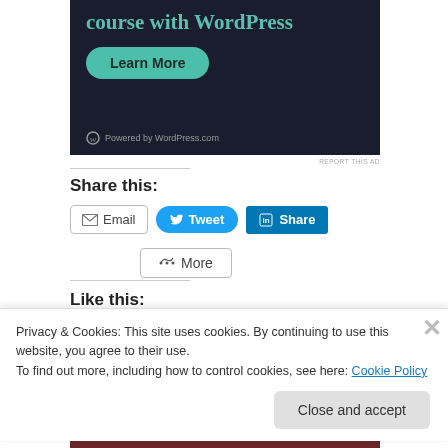[Figure (screenshot): Dark background advertisement for WordPress course with teal text 'course with WordPress', a green 'Learn More' button, and 'Powered by WordPress.com' footer]
REPORT THIS AD
Share this:
Email  Tweet  Share  More
Like this:
Privacy & Cookies: This site uses cookies. By continuing to use this website, you agree to their use.
To find out more, including how to control cookies, see here: Cookie Policy
Close and accept